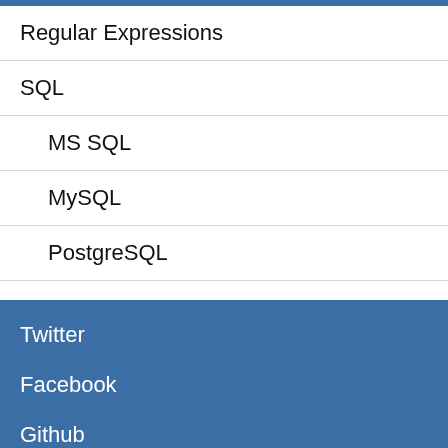Regular Expressions
SQL
MS SQL
MySQL
PostgreSQL
Vagrant
Websites
WordPress
Twitter
Facebook
Github